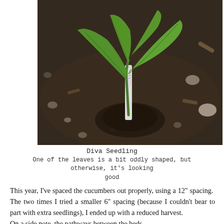[Figure (photo): Close-up photo of a young cucumber seedling (Diva variety) planted in dark soil/mulch, with a white plant label stake inserted next to it. The seedling has two large green leaves, one of which is slightly oddly shaped.]
Diva Seedling
One of the leaves is a bit oddly shaped, but otherwise, it's looking good
This year, I've spaced the cucumbers out properly, using a 12" spacing.  The two times I tried a smaller 6" spacing (because I couldn't bear to part with extra seedlings), I ended up with a reduced harvest.
On a side note, the pathways between the beds